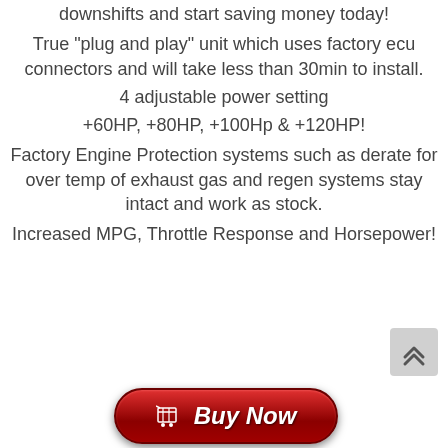downshifts and start saving money today!
True "plug and play" unit which uses factory ecu connectors and will take less than 30min to install.
4 adjustable power setting
+60HP, +80HP, +100Hp & +120HP!
Factory Engine Protection systems such as derate for over temp of exhaust gas and regen systems stay intact and work as stock.
Increased MPG, Throttle Response and Horsepower!
[Figure (other): Scroll to top button with double up arrows]
[Figure (other): Red Buy Now button with shopping cart icon]